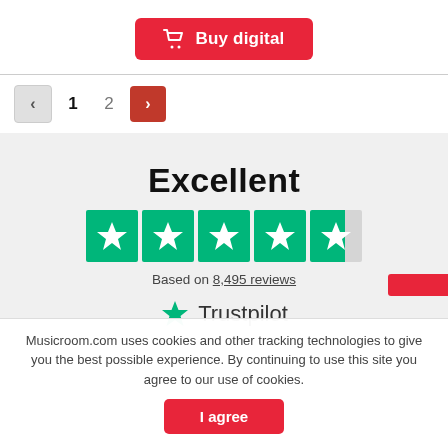[Figure (other): Red 'Buy digital' button with shopping cart icon]
[Figure (other): Pagination controls: left arrow (disabled), page 1, page 2, right arrow (active red)]
Excellent
[Figure (other): Trustpilot 4.5 star rating — 4 full green stars and 1 half star]
Based on 8,495 reviews
[Figure (logo): Trustpilot logo with green star]
Musicroom.com uses cookies and other tracking technologies to give you the best possible experience. By continuing to use this site you agree to our use of cookies.
[Figure (other): I agree button (red)]